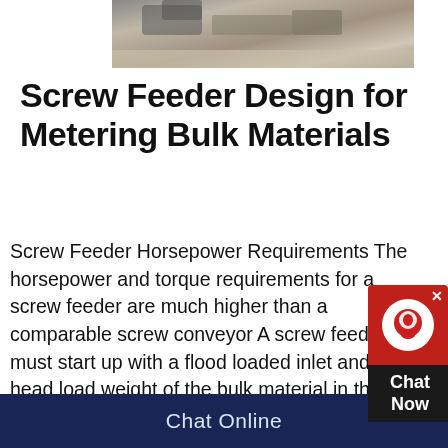[Figure (photo): Aerial or ground-level photo of a screw feeder or bulk material handling equipment in an outdoor/industrial setting with sandy/rocky material.]
Screw Feeder Design for Metering Bulk Materials
Screw Feeder Horsepower Requirements The horsepower and torque requirements for a screw feeder are much higher than a comparable screw conveyor A screw feeder must start up with a flood loaded inlet and the head load weight of the bulk material in the inlet section Bulk materials also tend to pack when under pressure in a hopper, bin or siloShaftless Screw Conveyors Shaftless spiral conveyors eliminate the central shaft and allow a much higher fill rate resulting in lower rpm's, more efficient conveying and consequently less wear Without a shaft, no intermediate or end bearings
Chat Online